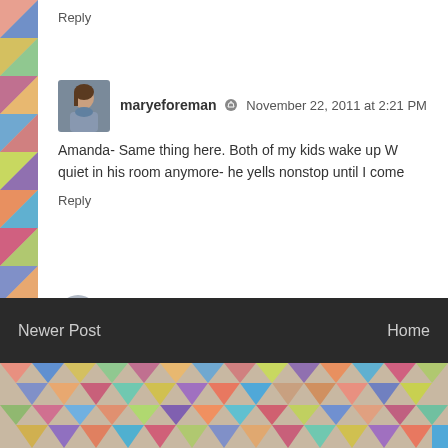Reply
maryeforeman  November 22, 2011 at 2:21 PM
Amanda- Same thing here. Both of my kids wake up W... quiet in his room anymore- he yells nonstop until I come...
Reply
Enter Comment
Leave your own "ism". Cael and Graham double-dog dare you.
Newer Post   Home